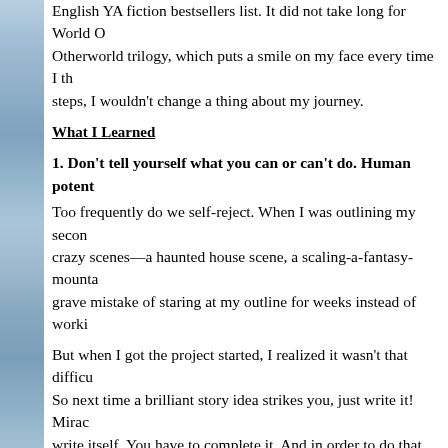English YA fiction bestsellers list. It did not take long for World Otherworld trilogy, which puts a smile on my face every time I th steps, I wouldn't change a thing about my journey.
What I Learned
1. Don't tell yourself what you can or can't do. Human potent
Too frequently do we self-reject. When I was outlining my secon crazy scenes—a haunted house scene, a scaling-a-fantasy-mounta grave mistake of staring at my outline for weeks instead of worki
But when I got the project started, I realized it wasn't that difficu So next time a brilliant story idea strikes you, just write it! Mirac write itself. You have to complete it. And in order to do that, you
2. Embrace criticism. It is like medicine, bitter but beneficial.
There are two kinds of criticism—hate speech and constructive c can be truly beneficial.
I grew from criticism myself. Had my aunt been too shy to point